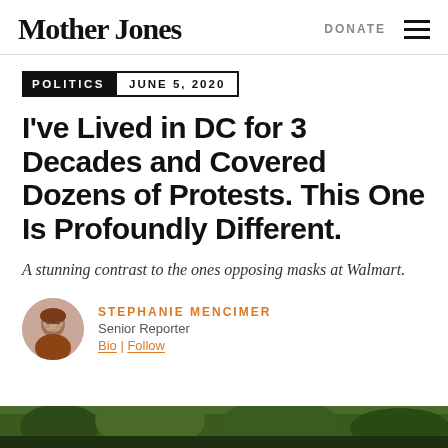Mother Jones | DONATE
POLITICS  JUNE 5, 2020
I've Lived in DC for 3 Decades and Covered Dozens of Protests. This One Is Profoundly Different.
A stunning contrast to the ones opposing masks at Walmart.
STEPHANIE MENCIMER
Senior Reporter
Bio | Follow
[Figure (photo): Bottom strip showing outdoor/nature scene with green foliage]